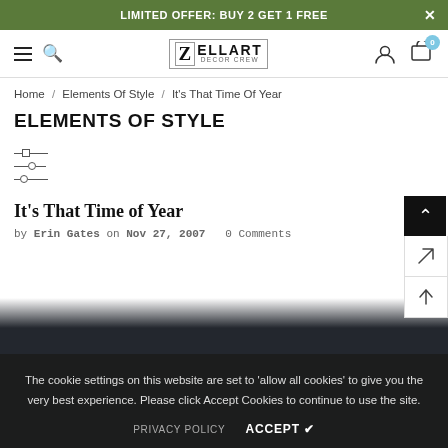LIMITED OFFER: BUY 2 GET 1 FREE
[Figure (logo): Zellart Decor Crew logo with Z in a box and text ELLART DECOR CREW]
Home / Elements Of Style / It's That Time Of Year
ELEMENTS OF STYLE
[Figure (other): Filter/slider icon with three horizontal lines and circles]
It's That Time of Year
by Erin Gates on Nov 27, 2007   0 Comments
The cookie settings on this website are set to 'allow all cookies' to give you the very best experience. Please click Accept Cookies to continue to use the site.
PRIVACY POLICY   ACCEPT ✔